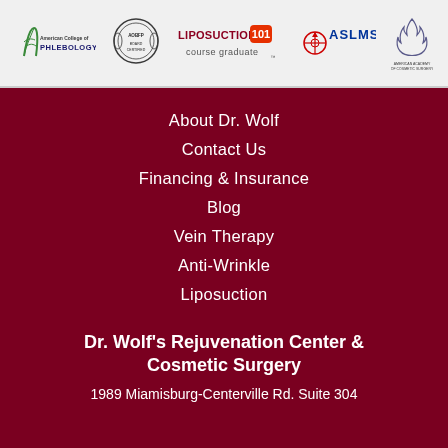[Figure (logo): Header bar with 5 medical/cosmetic organization logos: American College of Phlebology, AOBFP seal, Liposuction 101 course graduate, ASLMS, American Academy of Cosmetic Surgery]
About Dr. Wolf
Contact Us
Financing & Insurance
Blog
Vein Therapy
Anti-Wrinkle
Liposuction
Dr. Wolf's Rejuvenation Center & Cosmetic Surgery
1989 Miamisburg-Centerville Rd. Suite 304